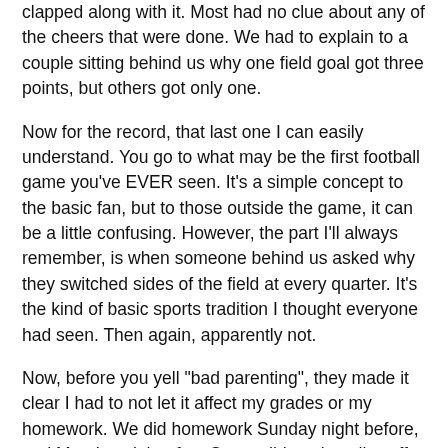clapped along with it.  Most had no clue about any of the cheers that were done.  We had to explain to a couple sitting behind us why one field goal got three points, but others got only one.
Now for the record, that last one I can easily understand.  You go to what may be the first football game you've EVER seen.  It's a simple concept to the basic fan, but to those outside the game, it can be a little confusing.  However, the part I'll always remember, is when someone behind us asked why they switched sides of the field at every quarter.  It's the kind of basic sports tradition I thought everyone had seen.  Then again, apparently not.
Now, before you yell "bad parenting", they made it clear I had to not let it affect my grades or my homework.  We did homework Sunday night before, and Monday night after.  So we did not just diss off school.  Nor did we miss out on something that will stick with me forever.  My parents understood that.  They knew it'd be one of those priceless moments that we may never see again.  And as I think back I wonder, how many would ignore the timeless experience, and just latch onto the "You took them out of school for FOOTBALL?!"